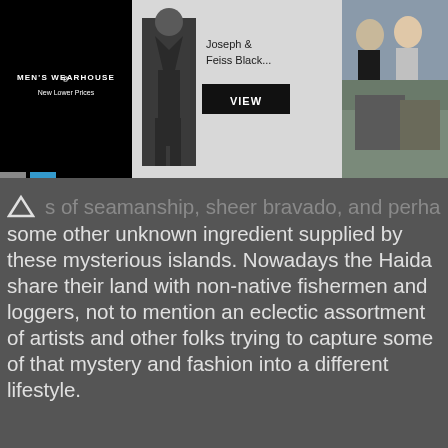[Figure (screenshot): Men's Wearhouse advertisement banner showing a suit product (Joseph & Feiss Black...) with a VIEW button, a man in a suit on the left section, and a couple in formal wear on the right section. Small X and play control buttons visible below the ad.]
s of seamanship, sheer bravado, and perhaps some other unknown ingredient supplied by these mysterious islands. Nowadays the Haida share their land with non-native fishermen and loggers, not to mention an eclectic assortment of artists and other folks trying to capture some of that mystery and fashion into a different lifestyle.
[Figure (photo): A photograph of a cluttered eclectic building/shop with colorful decorations along the roofline, multiple signs, and various items and collectibles piled up in front of it, surrounded by tall evergreen trees.]